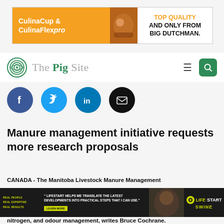[Figure (infographic): Advertisement banner for CulinaCup & CulinaFlex pro by Big Dutchman. Orange left side with product names, photo of pig feeding equipment in center, white right side with 'TOP QUALITY AND ONLY FROM BIG DUTCHMAN.' in orange and black text.]
The Pig Site
[Figure (infographic): Social media sharing buttons: Facebook (blue circle with f), Twitter (light blue circle with bird), LinkedIn (blue circle with in), Email (black circle with envelope icon)]
Manure management initiative requests more research proposals
CANADA - The Manitoba Livestock Manure Management Initiative is requesting research proposals for projects relating to nitrogen, and odour management, writes Bruce Cochrane.
[Figure (infographic): Advertisement for LifeStart Swine: dark background with testimonial quote 'LIFESTART HELPS ME TRANSLATE THE LATEST DEVELOPMENTS INTO PRACTICAL STEPS THAT I CAN USE.' with Learn More button and LifeStart Swine logo.]